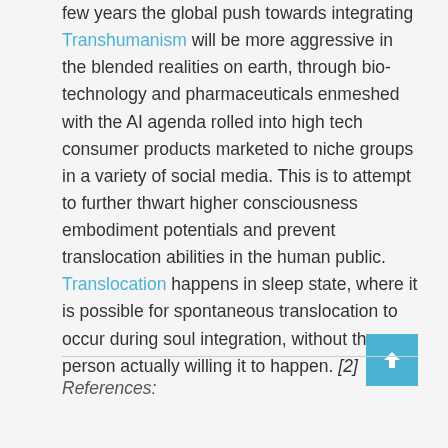few years the global push towards integrating Transhumanism will be more aggressive in the blended realities on earth, through bio-technology and pharmaceuticals enmeshed with the AI agenda rolled into high tech consumer products marketed to niche groups in a variety of social media. This is to attempt to further thwart higher consciousness embodiment potentials and prevent translocation abilities in the human public. Translocation happens in sleep state, where it is possible for spontaneous translocation to occur during soul integration, without the person actually willing it to happen. [2]
References: